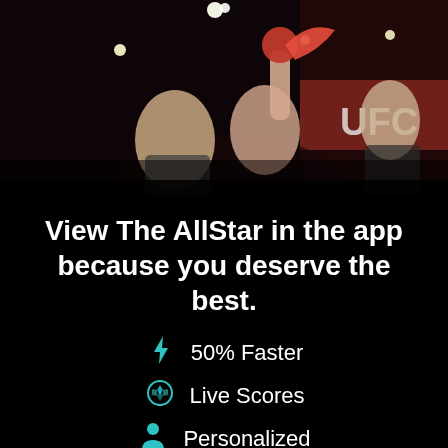[Figure (photo): MMA fighting scene with athlete raising hand in victory, UFC branding visible in background, dark arena lighting]
View The AllStar in the app because you deserve the best.
50% Faster
Live Scores
Personalized
CONTINUE
or go to the mobile site